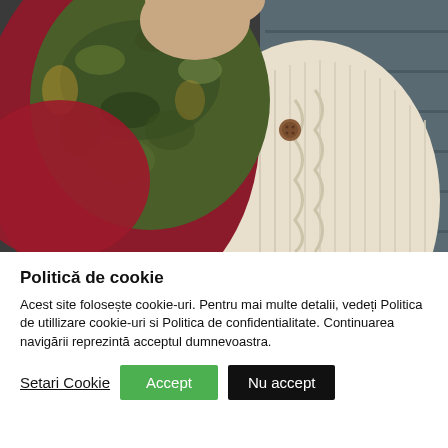[Figure (photo): Close-up photo of a person wearing a cream/off-white knit cardigan with a wooden button, and a green/burgundy patterned scarf. Only the torso and lower neck area are visible against a dark background.]
Politică de cookie
Acest site folosește cookie-uri. Pentru mai multe detalii, vedeți Politica de utillizare cookie-uri si Politica de confidentialitate. Continuarea navigării reprezintă acceptul dumnevoastra.
Setari Cookie | Accept | Nu accept